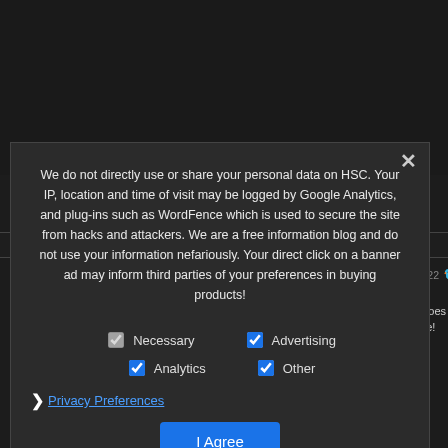We do not directly use or share your personal data on HSC. Your IP, location and time of visit may be logged by Google Analytics, and plug-ins such as WordFence which is used to secure the site from hacks and attackers. We are a free information blog and do not use your information nefariously. Your direct click on a banner ad may inform third parties of your preferences in buying products!
Necessary
Advertising
Analytics
Other
Privacy Preferences
I Agree
HSC TWITTER
Hi Speed Cam... @HiSpeedCa... Feb 22 Panasonic Lumix GH6 does 300fps in Full HD! ... The 240fps barrier in ... broken. Does the new camera live up to the lofty expectations? Quality preview... R Mode! #SlowMotion #HighSpeed #LumixGH6 #Panasonic